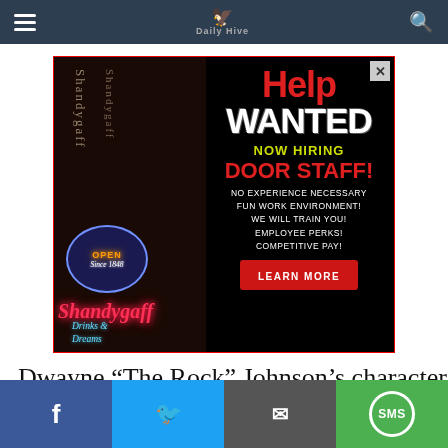Navigation bar with hamburger menu, site logo with bird icon, and search icon
[Figure (photo): Help Wanted advertisement for Shandygaff bar — 'NOW HIRING DOOR STAFF! NO EXPERIENCE NECESSARY FUN WORK ENVIRONMENT! WE WILL TRAIN YOU! EMPLOYEE PERKS! COMPETITIVE PAY! LEARN MORE'. Left side shows darkened photo of Shandygaff neon sign with 'Open Since 1948, Drinks & Dreams'.]
Dwayne “The Rock” Johnson’s character has
Social share buttons: Facebook, Twitter, Email, SMS